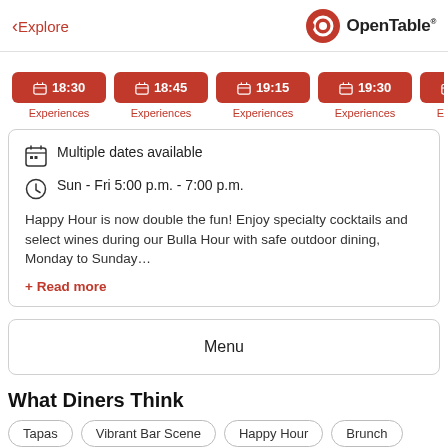< Explore   OpenTable
[Figure (screenshot): Row of red time slot buttons: 18:30, 18:45, 19:15, 19:30, 19:45, each labeled Experiences below]
Multiple dates available
Sun - Fri 5:00 p.m. - 7:00 p.m.
Happy Hour is now double the fun! Enjoy specialty cocktails and select wines during our Bulla Hour with safe outdoor dining, Monday to Sunday...
+ Read more
Menu
What Diners Think
Tapas
Vibrant Bar Scene
Happy Hour
Brunch